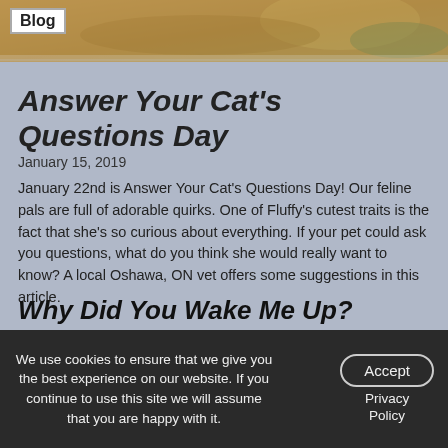Blog
Answer Your Cat's Questions Day
January 15, 2019
January 22nd is Answer Your Cat’s Questions Day! Our feline pals are full of adorable quirks. One of Fluffy’s cutest traits is the fact that she’s so curious about everything. If your pet could ask you questions, what do you think she would really want to know? A local Oshawa, ON vet offers some suggestions in this article.
Why Did You Wake Me Up?
Fluffy keeps a very busy napping schedule. She has morning, late morning, noon, afternoon, and evening naps to squeeze in around a busy schedule of eating, grooming, thinking about nothing, and following you around. She may also snuggle up with you for the night.
We use cookies to ensure that we give you the best experience on our website. If you continue to use this site we will assume that you are happy with it.
Accept
Privacy Policy